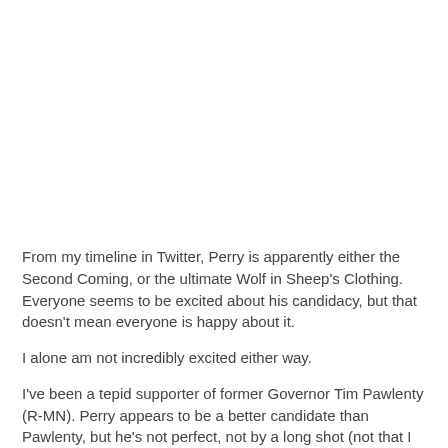From my timeline in Twitter, Perry is apparently either the Second Coming, or the ultimate Wolf in Sheep's Clothing. Everyone seems to be excited about his candidacy, but that doesn't mean everyone is happy about it.
I alone am not incredibly excited either way.
I've been a tepid supporter of former Governor Tim Pawlenty (R-MN). Perry appears to be a better candidate than Pawlenty, but he's not perfect, not by a long shot (not that I expect him to be... but the adulation I'm seeing in Twitter is